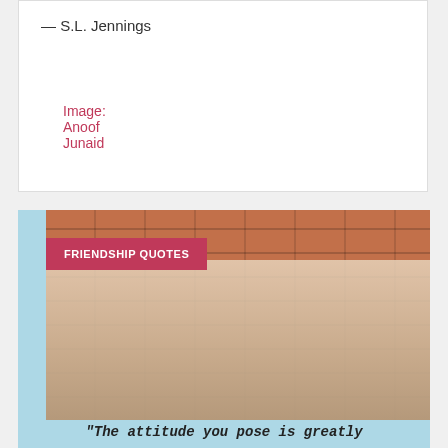— S.L. Jennings
Image: Anoof Junaid
[Figure (photo): Two young women laughing in front of a brick wall with vines, with a pink 'FRIENDSHIP QUOTES' badge overlaid on the top-left of the photo.]
"The attitude you pose is greatly